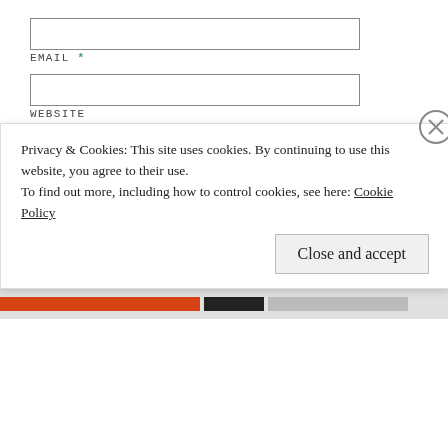EMAIL *
WEBSITE
Post Comment
Notify me of new comments via email.
Notify me of new posts via email.
This site uses Akismet to reduce spam. Learn
Privacy & Cookies: This site uses cookies. By continuing to use this website, you agree to their use.
To find out more, including how to control cookies, see here: Cookie Policy
Close and accept